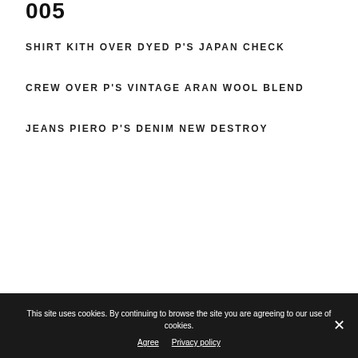005
SHIRT KITH OVER DYED P'S JAPAN CHECK
CREW OVER P'S VINTAGE ARAN WOOL BLEND
JEANS PIERO P'S DENIM NEW DESTROY
This site uses cookies. By continuing to browse the site you are agreeing to our use of cookies.
Agree   Privacy policy